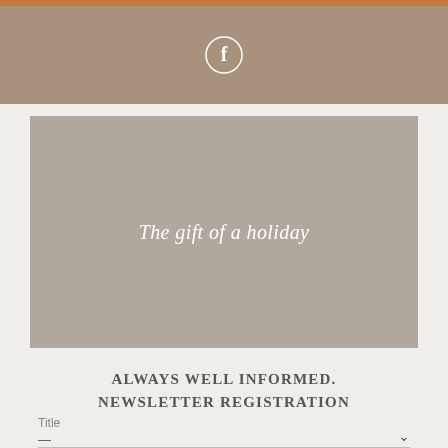[Figure (logo): Facebook icon in circle, white on tan/brown header bar]
[Figure (photo): Large gray placeholder image with text 'The gift of a holiday' in white italic serif font centered]
ALWAYS WELL INFORMED. NEWSLETTER REGISTRATION
Title
—